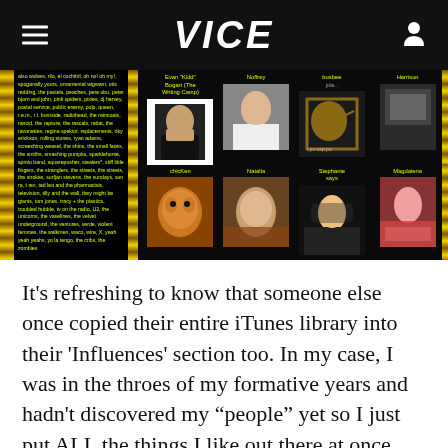VICE
[Figure (screenshot): Screenshot of a MySpace-style profile page with a black background, gold dollar-sign decorative borders on the left, green text listing music influences, and profile photos of multiple users including Evan 'Kidd' Bogart (The Writing Camp), Noffrey, busbee, Harrison, chicKen, Natalia, Stephanie says, and Magdalena]
It’s refreshing to know that someone else once copied their entire iTunes library into their ‘Influences’ section too. In my case, I was in the throes of my formative years and hadn’t discovered my “people” yet so I just put ALL the things I like out there at once and hoped my